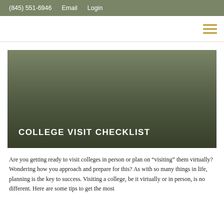(845) 551-6946   Email   Login
[Figure (other): Navigation bar with hamburger menu icon (three horizontal gold lines) on the right]
[Figure (other): Hero banner image with olive/army green gradient background and title text 'COLLEGE VISIT CHECKLIST' in white bold uppercase letters at bottom left]
COLLEGE VISIT CHECKLIST
Are you getting ready to visit colleges in person or plan on “visiting” them virtually? Wondering how you approach and prepare for this? As with so many things in life, planning is the key to success. Visiting a college, be it virtually or in person, is no different. Here are some tips to get the most